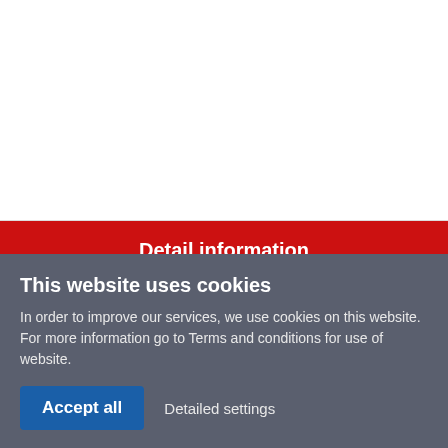Detail information
Send a question
Product Description
This website uses cookies
In order to improve our services, we use cookies on this website. For more information go to Terms and conditions for use of website.
Accept all
Detailed settings